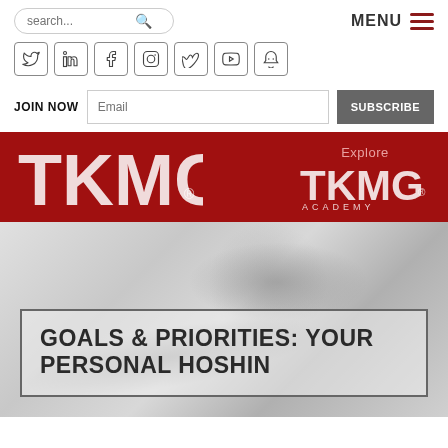[Figure (screenshot): Search bar with rounded border and magnifying glass icon]
[Figure (screenshot): MENU text and hamburger icon with dark red lines]
[Figure (screenshot): Social media icons row: Twitter, LinkedIn, Facebook, Instagram, Vimeo, YouTube, Slideshare]
JOIN NOW
[Figure (screenshot): Email input field and SUBSCRIBE button]
[Figure (logo): TKMG logo in white/pink on dark red banner, left side]
[Figure (logo): Explore TKMG ACADEMY logo on dark red banner, right side]
[Figure (photo): Grey metallic abstract background hero image]
GOALS & PRIORITIES: YOUR PERSONAL HOSHIN